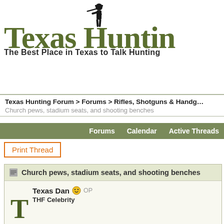[Figure (logo): Texas Hunting Forum logo with hunter silhouette and green/olive text]
The Best Place in Texas to Talk Hunting
Texas Hunting Forum > Forums > Rifles, Shotguns & Handguns
Church pews, stadium seats, and shooting benches
Forums   Calendar   Active Threads
Print Thread
Church pews, stadium seats, and shooting benches
Texas Dan  OP
THF Celebrity